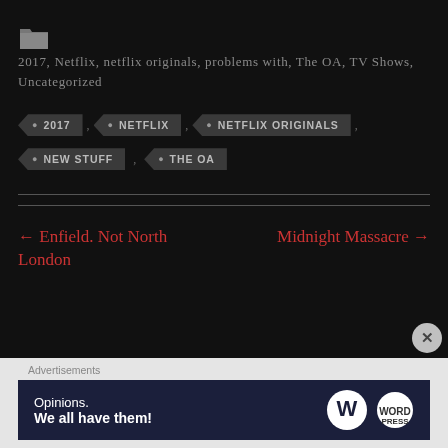2017, Netflix, netflix originals, problems with, The OA, TV Shows, Uncategorized
2017
NETFLIX
NETFLIX ORIGINALS
NEW STUFF
THE OA
← Enfield. Not North London
Midnight Massacre →
Advertisements
[Figure (screenshot): WordPress advertisement banner: 'Opinions. We all have them!' with WordPress and another logo]